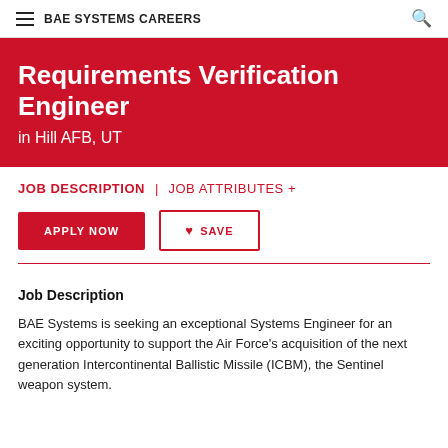BAE SYSTEMS CAREERS
Requirements Verification Engineer
in Hill AFB, UT
JOB DESCRIPTION | JOB ATTRIBUTES +
APPLY NOW   ♥ SAVE
Job Description
BAE Systems is seeking an exceptional Systems Engineer for an exciting opportunity to support the Air Force's acquisition of the next generation Intercontinental Ballistic Missile (ICBM), the Sentinel weapon system.